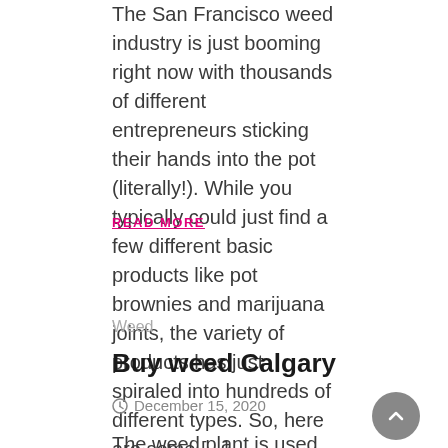The San Francisco weed industry is just booming right now with thousands of different entrepreneurs sticking their hands into the pot (literally!). While you typically could just find a few different basic products like pot brownies and marijuana joints, the variety of products has just spiraled into hundreds of different types. So, here are some [...]
READ MORE
Weed
Buy weed Calgary
December 15, 2020
The weed plant is used for its effects on the mind. It is also used for medical, social or religious purposes. Buy weed Calgary is a slang term for the dried flowers, leaves, stems and